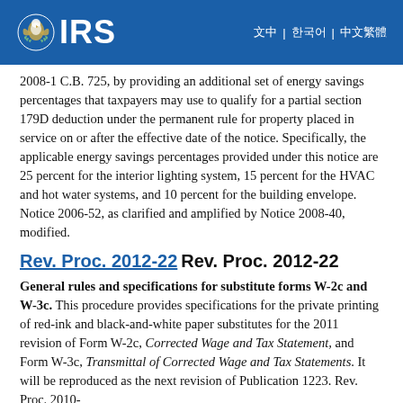IRS header with logo and navigation
2008-1 C.B. 725, by providing an additional set of energy savings percentages that taxpayers may use to qualify for a partial section 179D deduction under the permanent rule for property placed in service on or after the effective date of the notice. Specifically, the applicable energy savings percentages provided under this notice are 25 percent for the interior lighting system, 15 percent for the HVAC and hot water systems, and 10 percent for the building envelope. Notice 2006-52, as clarified and amplified by Notice 2008-40, modified.
Rev. Proc. 2012-22 Rev. Proc. 2012-22
General rules and specifications for substitute forms W-2c and W-3c. This procedure provides specifications for the private printing of red-ink and black-and-white paper substitutes for the 2011 revision of Form W-2c, Corrected Wage and Tax Statement, and Form W-3c, Transmittal of Corrected Wage and Tax Statements. It will be reproduced as the next revision of Publication 1223. Rev. Proc. 2010-